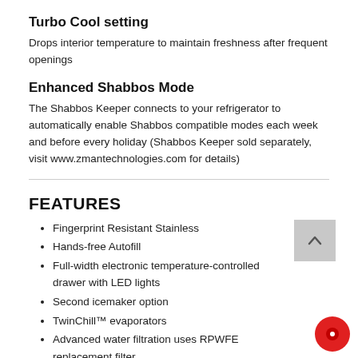Turbo Cool setting
Drops interior temperature to maintain freshness after frequent openings
Enhanced Shabbos Mode
The Shabbos Keeper connects to your refrigerator to automatically enable Shabbos compatible modes each week and before every holiday (Shabbos Keeper sold separately, visit www.zmantechnologies.com for details)
FEATURES
Fingerprint Resistant Stainless
Hands-free Autofill
Full-width electronic temperature-controlled drawer with LED lights
Second icemaker option
TwinChill™ evaporators
Advanced water filtration uses RPWFE replacement filter